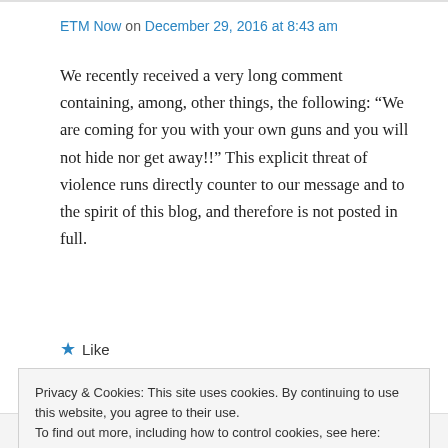ETM Now on December 29, 2016 at 8:43 am
We recently received a very long comment containing, among, other things, the following: “We are coming for you with your own guns and you will not hide nor get away!!” This explicit threat of violence runs directly counter to our message and to the spirit of this blog, and therefore is not posted in full.
★ Like
Privacy & Cookies: This site uses cookies. By continuing to use this website, you agree to their use.
To find out more, including how to control cookies, see here: Cookie Policy
Close and accept
We cannot be intimidated.